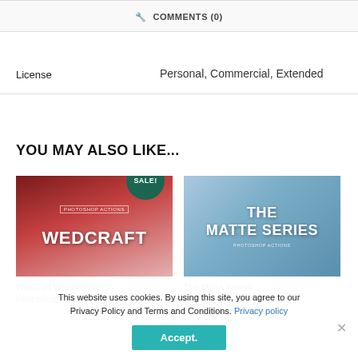🔧 COMMENTS (0)
License   Personal, Commercial, Extended
YOU MAY ALSO LIKE...
[Figure (photo): Wedcraft Wedding Photoshop Actions product thumbnail with red flowers background and SALE badge]
Wedcraft Wedding Photoshop Actions
[Figure (photo): The Matte Series Photoshop Actions product thumbnail with mountain/sky background]
The Matte Series Photoshop Actions
This website uses cookies. By using this site, you agree to our Privacy Policy and Terms and Conditions. Privacy policy
Accept.